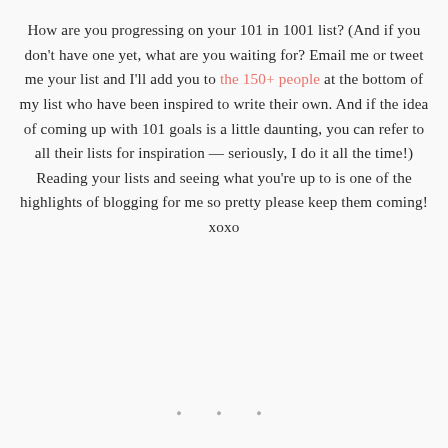How are you progressing on your 101 in 1001 list? (And if you don't have one yet, what are you waiting for? Email me or tweet me your list and I'll add you to the 150+ people at the bottom of my list who have been inspired to write their own. And if the idea of coming up with 101 goals is a little daunting, you can refer to all their lists for inspiration — seriously, I do it all the time!) Reading your lists and seeing what you're up to is one of the highlights of blogging for me so pretty please keep them coming! xoxo